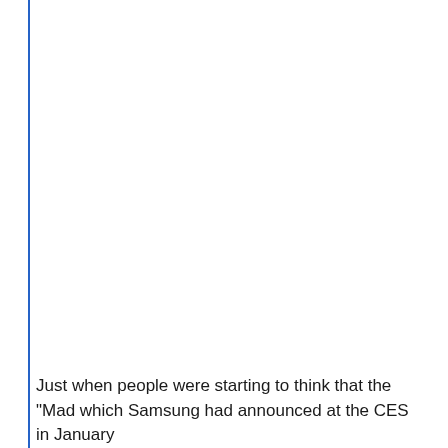Just when people were starting to think that the "Mad which Samsung had announced at the CES in January